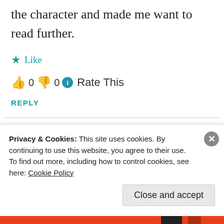the character and made me want to read further.
★ Like
👍 0 👎 0 ℹ Rate This
REPLY
[Figure (photo): Circular avatar image of a person, partially visible at bottom of page]
Privacy & Cookies: This site uses cookies. By continuing to use this website, you agree to their use.
To find out more, including how to control cookies, see here: Cookie Policy
Close and accept